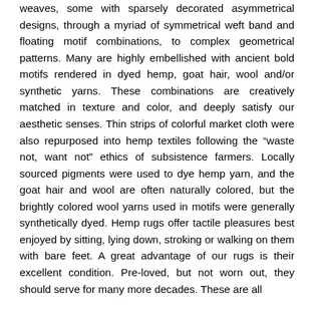weaves, some with sparsely decorated asymmetrical designs, through a myriad of symmetrical weft band and floating motif combinations, to complex geometrical patterns. Many are highly embellished with ancient bold motifs rendered in dyed hemp, goat hair, wool and/or synthetic yarns. These combinations are creatively matched in texture and color, and deeply satisfy our aesthetic senses. Thin strips of colorful market cloth were also repurposed into hemp textiles following the "waste not, want not" ethics of subsistence farmers. Locally sourced pigments were used to dye hemp yarn, and the goat hair and wool are often naturally colored, but the brightly colored wool yarns used in motifs were generally synthetically dyed. Hemp rugs offer tactile pleasures best enjoyed by sitting, lying down, stroking or walking on them with bare feet. A great advantage of our rugs is their excellent condition. Pre-loved, but not worn out, they should serve for many more decades. These are all